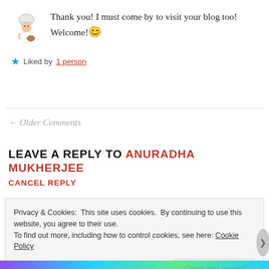Thank you! I must come by to visit your blog too! Welcome! 😊
Liked by 1 person
← Older Comments
LEAVE A REPLY TO ANURADHA MUKHERJEE
CANCEL REPLY
Privacy & Cookies: This site uses cookies. By continuing to use this website, you agree to their use.
To find out more, including how to control cookies, see here: Cookie Policy
Close and accept